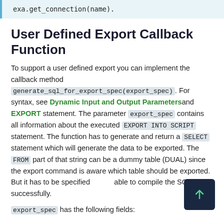exa.get_connection(name).
User Defined Export Callback Function
To support a user defined export you can implement the callback method generate_sql_for_export_spec(export_spec). For syntax, see Dynamic Input and Output Parameters and EXPORT statement. The parameter export_spec contains all information about the executed EXPORT INTO SCRIPT statement. The function has to generate and return a SELECT statement which will generate the data to be exported. The FROM part of that string can be a dummy table (DUAL) since the export command is aware which table should be exported. But it has to be specified to be able to compile the SQL string successfully.
export_spec has the following fields: